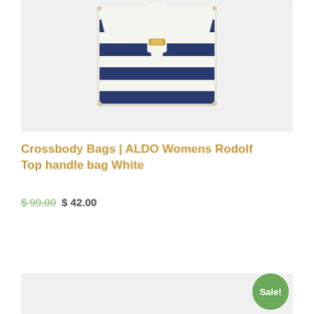[Figure (photo): Product photo of ALDO Womens Rodolf Top handle bag in white with navy blue horizontal stripes and a gold clasp closure]
Crossbody Bags | ALDO Womens Rodolf Top handle bag White
$ 99.00 $ 42.00
Add to cart
[Figure (photo): Second product listing image, partially visible, with a Sale! badge]
Sale!